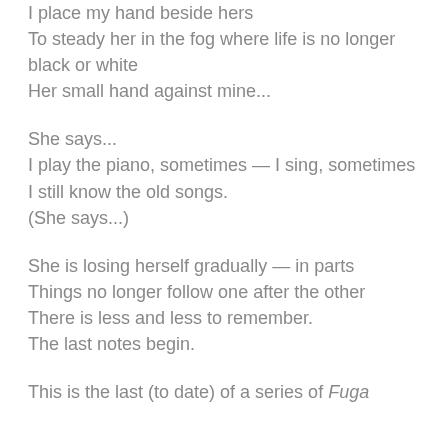I place my hand beside hers
To steady her in the fog where life is no longer black or white
Her small hand against mine...
She says...
I play the piano, sometimes — I sing, sometimes
I still know the old songs.
(She says...)
She is losing herself gradually — in parts
Things no longer follow one after the other
There is less and less to remember.
The last notes begin.
This is the last (to date) of a series of Fuga